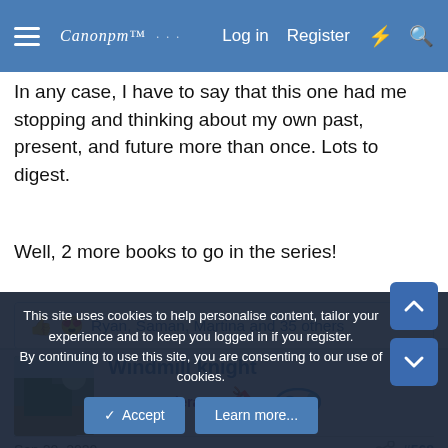Canonpm Log in Register
In any case, I have to say that this one had me stopping and thinking about my own past, present, and future more than once. Lots to digest.
Well, 2 more books to go in the series!
Ryan, Saman, Martina and 35 others
Windmill knight
SuperModerator
Sep 20, 2020
#568
This site uses cookies to help personalise content, tailor your experience and to keep you logged in if you register. By continuing to use this site, you are consenting to our use of cookies.
Accept
Learn more...